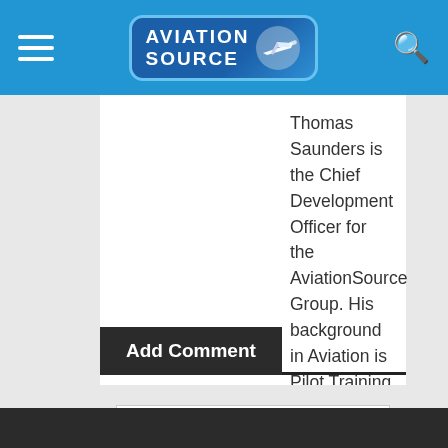[Figure (logo): Aviation Source logo with airplane icon on blue navigation bar header]
Thomas Saunders is the Chief Development Officer for the AviationSource Group. His background in Aviation is Pilot Training Operations and Aviation Photography.
Add Comment
Click here to post a comment